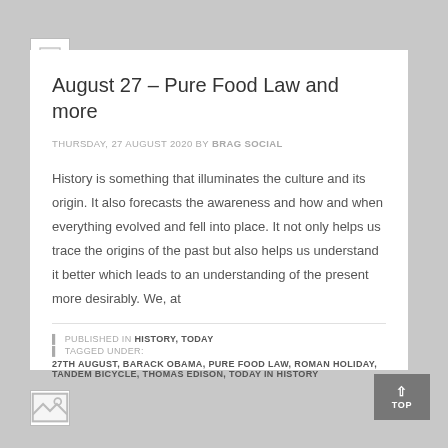[Figure (other): Broken image placeholder icon, top left]
August 27 – Pure Food Law and more
THURSDAY, 27 AUGUST 2020 BY BRAG SOCIAL
History is something that illuminates the culture and its origin. It also forecasts the awareness and how and when everything evolved and fell into place. It not only helps us trace the origins of the past but also helps us understand it better which leads to an understanding of the present more desirably. We, at
PUBLISHED IN HISTORY, TODAY
TAGGED UNDER: 27TH AUGUST, BARACK OBAMA, PURE FOOD LAW, ROMAN HOLIDAY, TANDEM BICYCLE, THOMAS EDISON, TODAY IN HISTORY
[Figure (other): Broken image placeholder icon, bottom left]